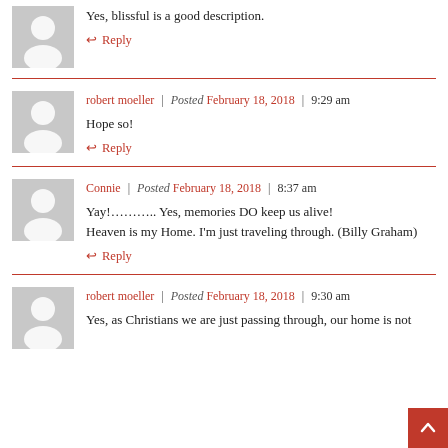Yes, blissful is a good description.
↩ Reply
robert moeller | Posted February 18, 2018 | 9:29 am
Hope so!
↩ Reply
Connie | Posted February 18, 2018 | 8:37 am
Yay!............  Yes, memories DO keep us alive!
Heaven is my Home. I'm just traveling through. (Billy Graham)
↩ Reply
robert moeller | Posted February 18, 2018 | 9:30 am
Yes, as Christians we are just passing through, our home is not